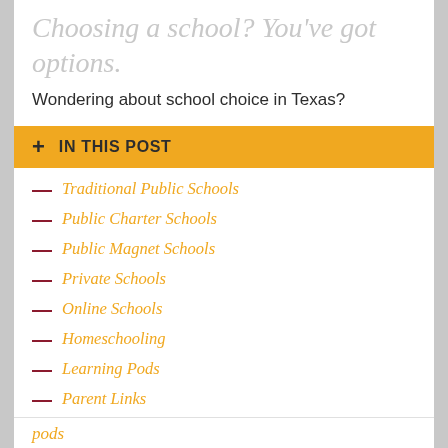Choosing a school? You've got options.
Wondering about school choice in Texas?
+ IN THIS POST
Traditional Public Schools
Public Charter Schools
Public Magnet Schools
Private Schools
Online Schools
Homeschooling
Learning Pods
Parent Links
pods